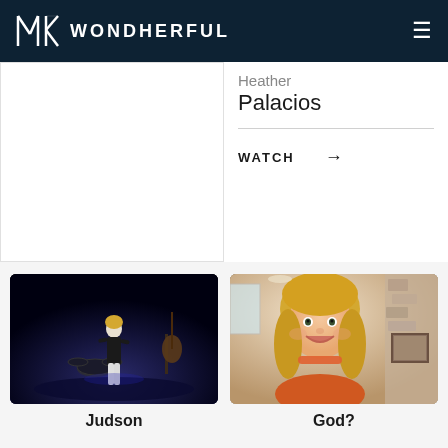WONDHERFUL
Heather Palacios
WATCH →
[Figure (photo): Woman in black t-shirt and white jeans standing on a stage with musical instruments including a guitar and drums in the background, dark blue stage lighting]
Judson
[Figure (photo): Blonde woman smiling at camera in a home setting with fireplace and stone wall visible in background, wearing an orange top]
God?